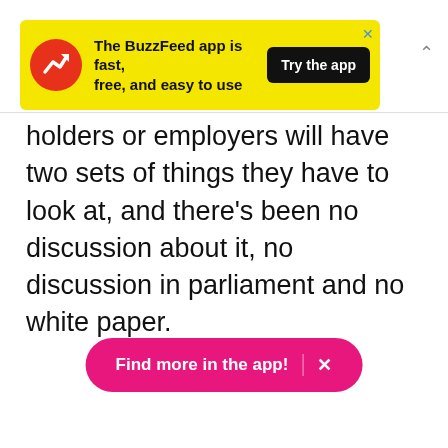[Figure (screenshot): BuzzFeed app advertisement banner with yellow background, red circular icon with white trending arrow, text 'The BuzzFeed app is fast, free, and easy to use', black 'Try the app' button, and blue X close button]
holders or employers will have two sets of things they have to look at, and there's been no discussion about it, no discussion in parliament and no white paper.
[Figure (screenshot): Pink rounded button with text 'Find more in the app!' and white X close button]